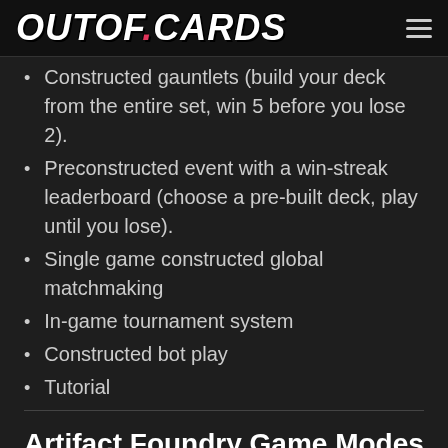OUTOF.CARDS
Constructed gauntlets (build your deck from the entire set, win 5 before you lose 2).
Preconstructed event with a win-streak leaderboard (choose a pre-built deck, play until you lose).
Single game constructed global matchmaking
In-game tournament system
Constructed bot play
Tutorial
Artifact Foundry Game Modes
1v1 Hero Draft ladder (pick and counter-pick